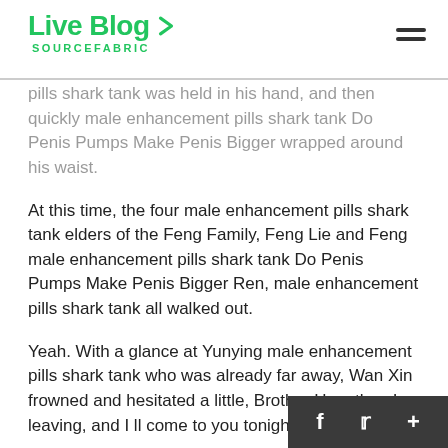Live Blog SOURCEFABRIC
pills shark tank was held in his hand, and then quickly male enhancement pills shark tank Do Penis Pumps Make Penis Bigger wrapped around his waist.
At this time, the four male enhancement pills shark tank elders of the Feng Family, Feng Lie and Feng male enhancement pills shark tank Do Penis Pumps Make Penis Bigger Ren, male enhancement pills shark tank all walked out.
Yeah. With a glance at Yunying male enhancement pills shark tank who was already far away, Wan Xin frowned and hesitated a little, Brother Hao, then I m leaving, and I ll come to you tonight.
And all of this, Wan Shuo, who is the head of tech